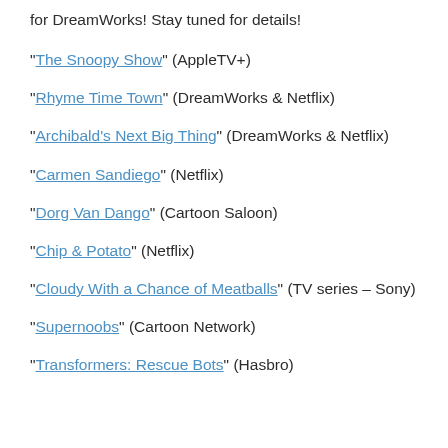for DreamWorks! Stay tuned for details!
"The Snoopy Show" (AppleTV+)
"Rhyme Time Town" (DreamWorks & Netflix)
"Archibald's Next Big Thing" (DreamWorks & Netflix)
"Carmen Sandiego" (Netflix)
"Dorg Van Dango" (Cartoon Saloon)
"Chip & Potato" (Netflix)
"Cloudy With a Chance of Meatballs" (TV series – Sony)
"Supernoobs" (Cartoon Network)
"Transformers: Rescue Bots" (Hasbro)